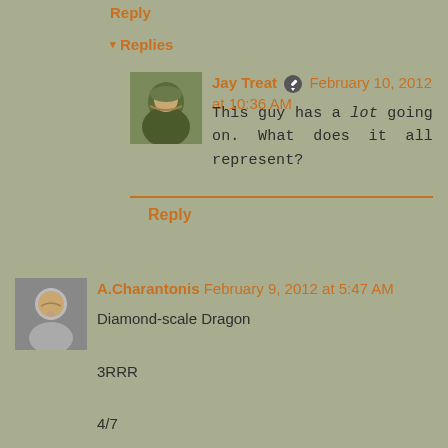Reply
▾ Replies
Jay Treat ✏ February 10, 2012 at 10:36 AM
This guy has a lot going on. What does it all represent?
Reply
A.Charantonis February 9, 2012 at 5:47 AM
Diamond-scale Dragon
3RRR
4/7
trample
fire-breathing
cannot be blocked by creatures with power 3 or greater.